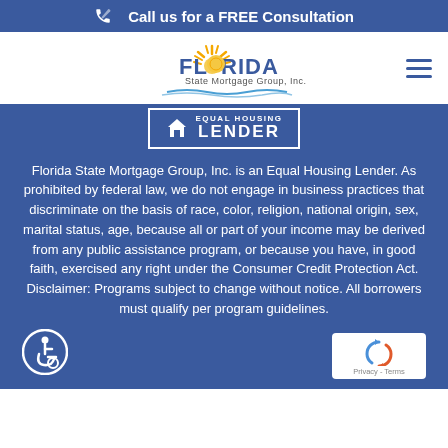Call us for a FREE Consultation
[Figure (logo): Florida State Mortgage Group, Inc. logo with sun rays graphic and wave]
[Figure (logo): Equal Housing Lender badge with text EQUAL HOUSING LENDER]
Florida State Mortgage Group, Inc. is an Equal Housing Lender. As prohibited by federal law, we do not engage in business practices that discriminate on the basis of race, color, religion, national origin, sex, marital status, age, because all or part of your income may be derived from any public assistance program, or because you have, in good faith, exercised any right under the Consumer Credit Protection Act. Disclaimer: Programs subject to change without notice. All borrowers must qualify per program guidelines.
[Figure (illustration): Wheelchair accessibility icon in circle]
[Figure (logo): reCAPTCHA logo with Privacy and Terms text]